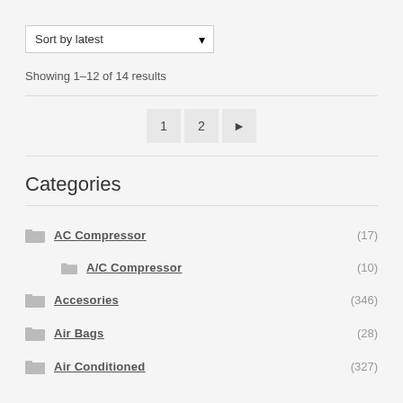Sort by latest
Showing 1–12 of 14 results
1  2  ▶
Categories
AC Compressor (17)
A/C Compressor (10)
Accesories (346)
Air Bags (28)
Air Conditioned (327)